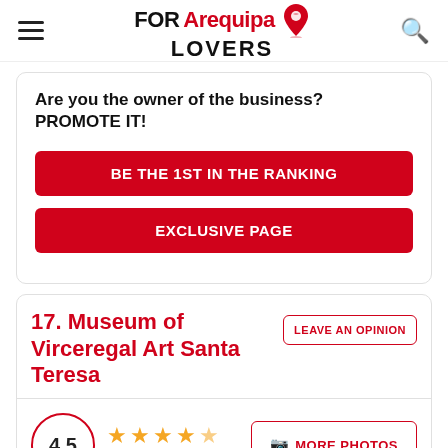FOR Arequipa LOVERS
Are you the owner of the business? PROMOTE IT!
BE THE 1ST IN THE RANKING
EXCLUSIVE PAGE
17. Museum of Virceregal Art Santa Teresa
LEAVE AN OPINION
4.5   415 reviews   MORE PHOTOS